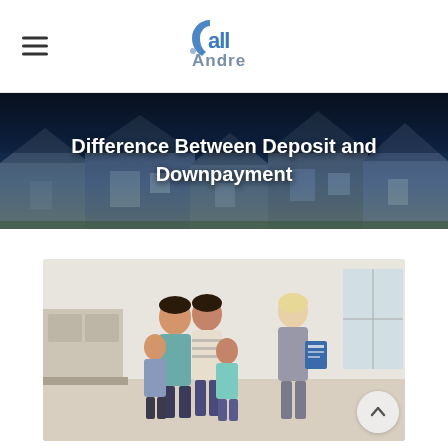Call Andre (logo)
Difference Between Deposit and Downpayment
[Figure (photo): A family of four (two adults and two children) meeting with a real estate agent inside a house, viewed in a bright interior setting.]